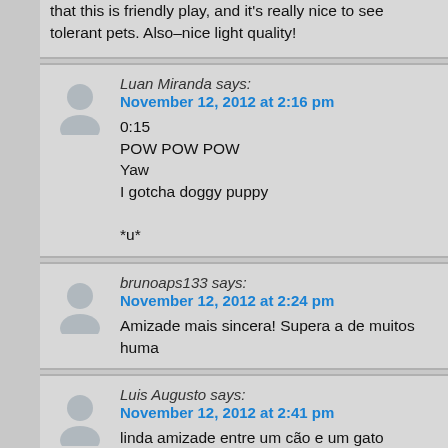that this is friendly play, and it's really nice to see tolerant pets. Also–nice light quality!
Luan Miranda says: November 12, 2012 at 2:16 pm
0:15
POW POW POW
Yaw
I gotcha doggy puppy
*u*
brunoaps133 says: November 12, 2012 at 2:24 pm
Amizade mais sincera! Supera a de muitos huma
Luis Augusto says: November 12, 2012 at 2:41 pm
linda amizade entre um cão e um gato
Julio Bauer says: November 12, 2012 at 3:00 pm